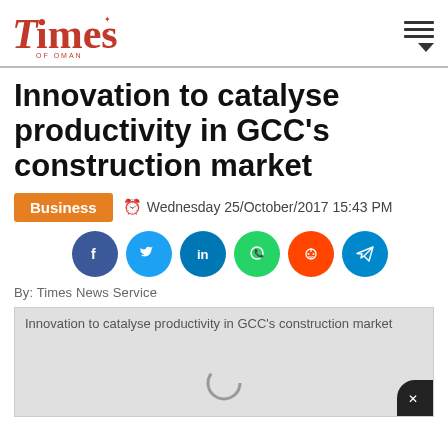Times of Oman
Innovation to catalyse productivity in GCC’s construction market
Business   Wednesday 25/October/2017 15:43 PM
[Figure (infographic): Row of social media share buttons: Facebook, Twitter, LinkedIn, WhatsApp, Reddit, Telegram]
By: Times News Service
[Figure (photo): Article image placeholder with alt text: Innovation to catalyse productivity in GCC’s construction market. Loading spinner visible at bottom center.]